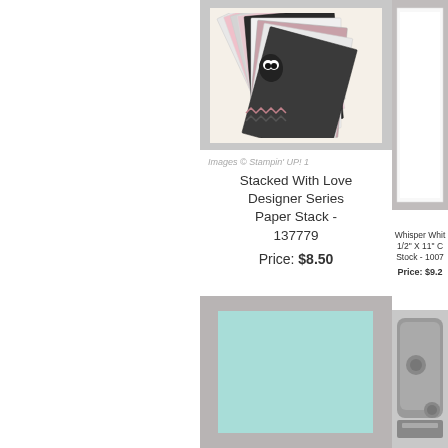[Figure (photo): Stacked With Love Designer Series Paper Stack product image showing fanned paper sheets in pink, black, and white patterns]
[Figure (photo): Whisper White 8-1/2 x 11 card stock product image showing white sheets]
Images © Stampin' UP! 1
Stacked With Love Designer Series Paper Stack - 137779
Price: $8.50
Whisper White 8-1/2" X 11" C Stock - 1007
Price: $9.2
[Figure (photo): Pool party or mint colored card stock shown with gray border]
[Figure (photo): Punch tool or cutting device shown partially]